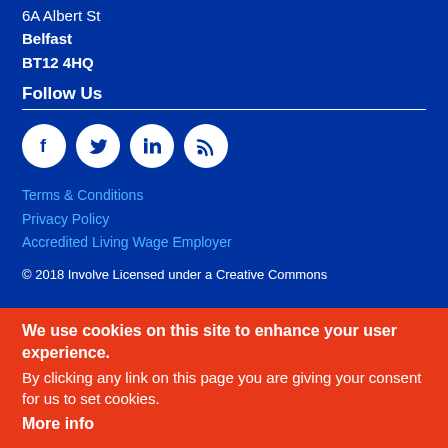6A Albert St
Belfast
BT12 4HQ
Follow Us
[Figure (illustration): Social media icons: Facebook, Twitter, LinkedIn, RSS feed — white icons on circular white backgrounds on blue]
Terms & Conditions
Privacy Policy
Accredited Living Wage Employer
© 2018 Involve Licensed under a Creative Commons
We use cookies on this site to enhance your user experience.
By clicking any link on this page you are giving your consent for us to set cookies.
More info